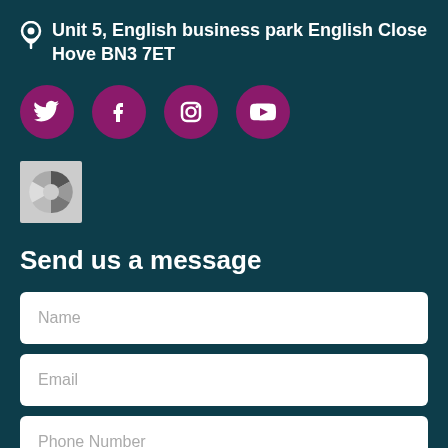Unit 5, English business park English Close Hove BN3 7ET
[Figure (infographic): Social media icons: Twitter, Facebook, Instagram, YouTube — white icons on purple circles]
[Figure (logo): Circular logo/badge with segmented design in grey and white]
Send us a message
Name
Email
Phone Number
Message